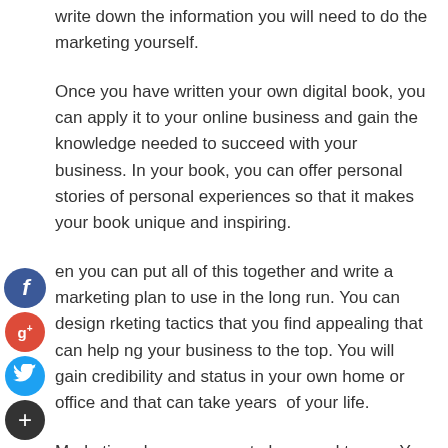write down the information you will need to do the marketing yourself.
Once you have written your own digital book, you can apply it to your online business and gain the knowledge needed to succeed with your business. In your book, you can offer personal stories of personal experiences so that it makes your book unique and inspiring.
Then you can put all of this together and write a marketing plan to use in the long run. You can design marketing tactics that you find appealing that can help bring your business to the top. You will gain credibility and status in your own home or office and that can take years off of your life.
Marketing plans are easy to learn and to use. You can read